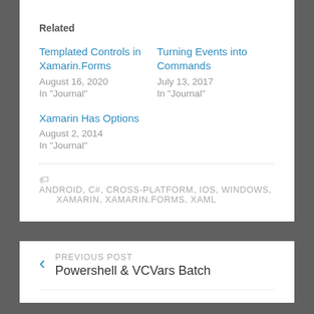Related
Templated Controls in Xamarin.Forms
August 16, 2020
In "Journal"
Turning Events into Commands
July 13, 2017
In "Journal"
Xamarin Has Options
August 2, 2014
In "Journal"
ANDROID, C#, CROSS-PLATFORM, IOS, WINDOWS, XAMARIN, XAMARIN.FORMS, XAML
PREVIOUS POST
Powershell & VCVars Batch